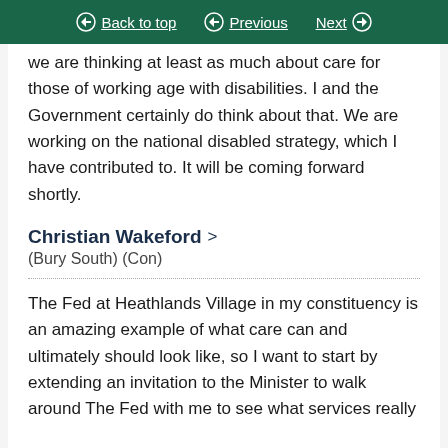Back to top | Previous | Next
we are thinking at least as much about care for those of working age with disabilities. I and the Government certainly do think about that. We are working on the national disabled strategy, which I have contributed to. It will be coming forward shortly.
Christian Wakeford
(Bury South) (Con)
The Fed at Heathlands Village in my constituency is an amazing example of what care can and ultimately should look like, so I want to start by extending an invitation to the Minister to walk around The Fed with me to see what services really